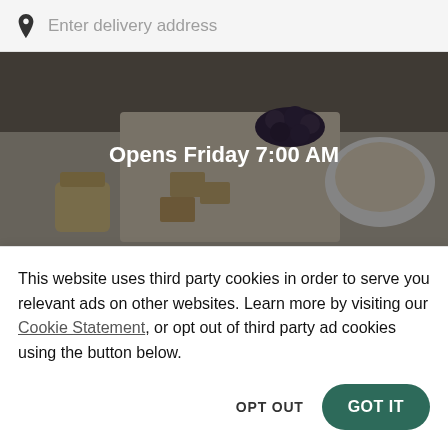Enter delivery address
[Figure (photo): Hero image of food items including cheese, grapes, crackers and a bowl of cream/dip on a table, with dark overlay. Text reads 'Opens Friday 7:00 AM']
Lillie Fuel
New
This website uses third party cookies in order to serve you relevant ads on other websites. Learn more by visiting our Cookie Statement, or opt out of third party ad cookies using the button below.
OPT OUT
GOT IT